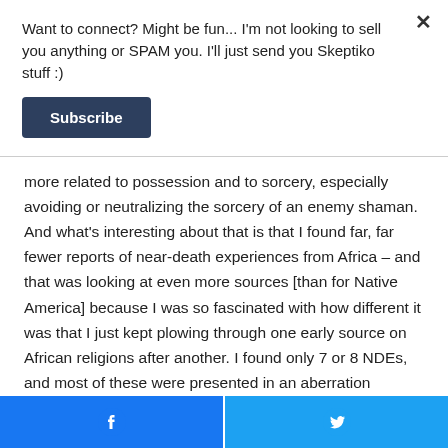Want to connect? Might be fun... I'm not looking to sell you anything or SPAM you. I'll just send you Skeptiko stuff :)
Subscribe
more related to possession and to sorcery, especially avoiding or neutralizing the sorcery of an enemy shaman.  And what's interesting about that is that I found far, far fewer reports of near-death experiences from Africa – and that was looking at even more sources [than for Native America] because I was so fascinated with how different it was that I just kept plowing through one early source on African religions after another.  I found only 7 or 8 NDEs, and most of these were presented in an aberration context, like it's